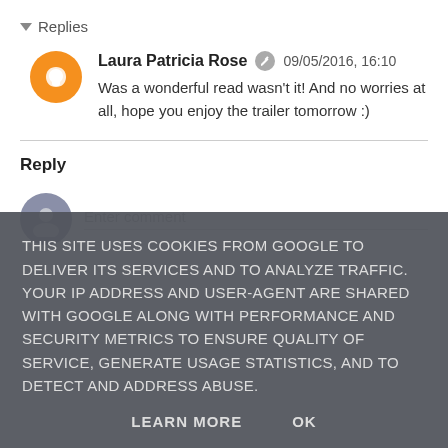▾ Replies
Laura Patricia Rose  09/05/2016, 16:10
Was a wonderful read wasn't it! And no worries at all, hope you enjoy the trailer tomorrow :)
Reply
Enter comment
THIS SITE USES COOKIES FROM GOOGLE TO DELIVER ITS SERVICES AND TO ANALYZE TRAFFIC. YOUR IP ADDRESS AND USER-AGENT ARE SHARED WITH GOOGLE ALONG WITH PERFORMANCE AND SECURITY METRICS TO ENSURE QUALITY OF SERVICE, GENERATE USAGE STATISTICS, AND TO DETECT AND ADDRESS ABUSE.

LEARN MORE   OK